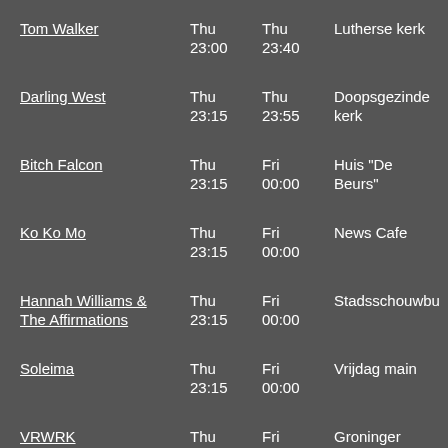Tom Walker | Thu 23:00 | Thu 23:40 | Lutherse kerk
Darling West | Thu 23:15 | Thu 23:55 | Doopsgezinde kerk
Bitch Falcon | Thu 23:15 | Fri 00:00 | Huis "De Beurs"
Ko Ko Mo | Thu 23:15 | Fri 00:00 | News Cafe
Hannah Williams & The Affirmations | Thu 23:15 | Fri 00:00 | Stadsschouwbu
Soleima | Thu 23:15 | Fri 00:00 | Vrijdag main
VRWRK | Thu 23:20 | Fri 00:00 | Groninger Forum
Pom Poko | Thu 23:20 | Fri 00:00 | Minerva Art Academy Zuiderdiep